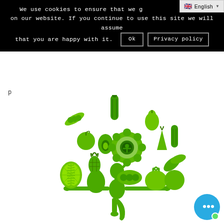We use cookies to ensure that we g...nce on our website. If you continue to use this site we will assume that you are happy with it.
[Figure (illustration): Green silhouette of a yoga/tree-pose woman surrounded by various green fruits and vegetables arranged in a tree/circle shape above her head: pea pod, zucchini, pear, cucumber, carrot, greens, turnip, apple, avocado, decorative flower, green pepper, beans, pineapple, lime slice, and other produce.]